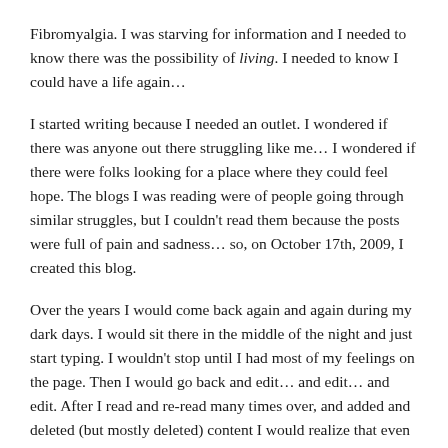Fibromyalgia. I was starving for information and I needed to know there was the possibility of living. I needed to know I could have a life again…
I started writing because I needed an outlet. I wondered if there was anyone out there struggling like me… I wondered if there were folks looking for a place where they could feel hope. The blogs I was reading were of people going through similar struggles, but I couldn't read them because the posts were full of pain and sadness… so, on October 17th, 2009, I created this blog.
Over the years I would come back again and again during my dark days. I would sit there in the middle of the night and just start typing. I wouldn't stop until I had most of my feelings on the page. Then I would go back and edit… and edit… and edit. After I read and re-read many times over, and added and deleted (but mostly deleted) content I would realize that even in my toughest moments, I am still so incredibly blessed. (I